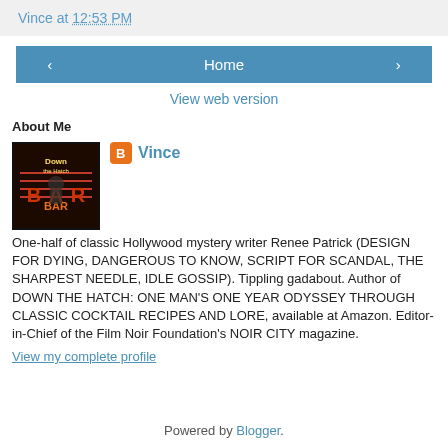Vince at 12:53 PM
< | Home | >
View web version
About Me
[Figure (photo): Book cover for Down the Hatch]
Vince
One-half of classic Hollywood mystery writer Renee Patrick (DESIGN FOR DYING, DANGEROUS TO KNOW, SCRIPT FOR SCANDAL, THE SHARPEST NEEDLE, IDLE GOSSIP). Tippling gadabout. Author of DOWN THE HATCH: ONE MAN'S ONE YEAR ODYSSEY THROUGH CLASSIC COCKTAIL RECIPES AND LORE, available at Amazon. Editor-in-Chief of the Film Noir Foundation's NOIR CITY magazine.
View my complete profile
Powered by Blogger.